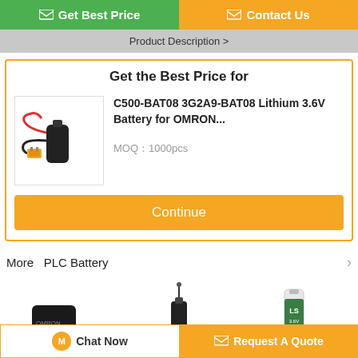[Figure (screenshot): Get Best Price button (green) and Contact Us button (orange) at the top]
Product Description >
Get the Best Price for
[Figure (photo): C500-BAT08 3G2A9-BAT08 Lithium 3.6V battery for OMRON with red/black wired connector and orange plug]
C500-BAT08 3G2A9-BAT08 Lithium 3.6V Battery for OMRON...
MOQ：1000pcs
Continue
More  PLC Battery
[Figure (photo): Black PLC battery pack with brown connector]
[Figure (photo): Black cylindrical battery with wire]
[Figure (photo): LS brand cylindrical battery in white/green packaging]
Chat Now
Request A Quote